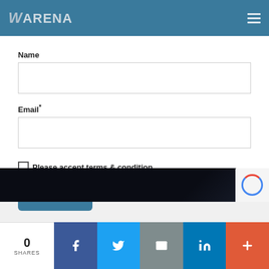WARENA
Name
Email*
Please accept terms & condition
Submit
[Figure (screenshot): Dark background image strip at bottom of page with reCAPTCHA badge in corner]
0 SHARES — Facebook, Twitter, Email, LinkedIn, More social share buttons